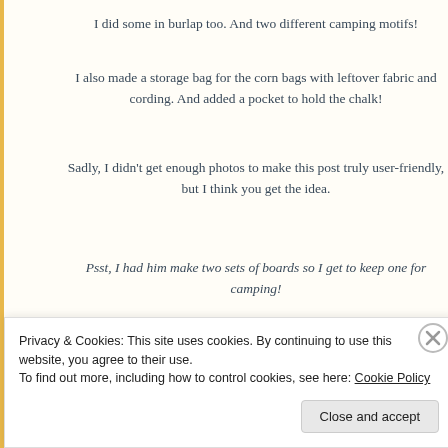I did some in burlap too. And two different camping motifs!
I also made a storage bag for the corn bags with leftover fabric and cording. And added a pocket to hold the chalk!
Sadly, I didn't get enough photos to make this post truly user-friendly, but I think you get the idea.
Psst, I had him make two sets of boards so I get to keep one for camping!
In case you're not familiar with the rules of the Game, It's really quite simple!
Privacy & Cookies: This site uses cookies. By continuing to use this website, you agree to their use.
To find out more, including how to control cookies, see here: Cookie Policy
Close and accept